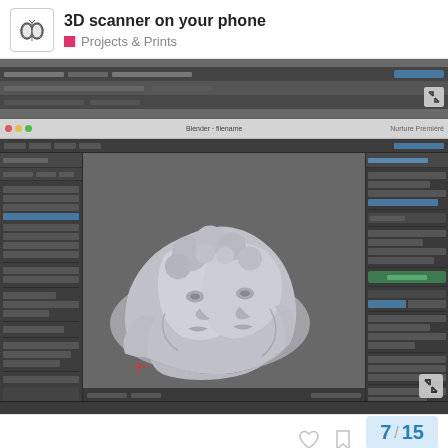3D scanner on your phone | Projects & Prints
[Figure (screenshot): Two screenshots of a 3D modeling application (Blender) showing a 3D scanned sculpture of two faces/heads rendered as a white mesh model against a gray viewport background, with panels and toolbars visible on the sides.]
7 / 15